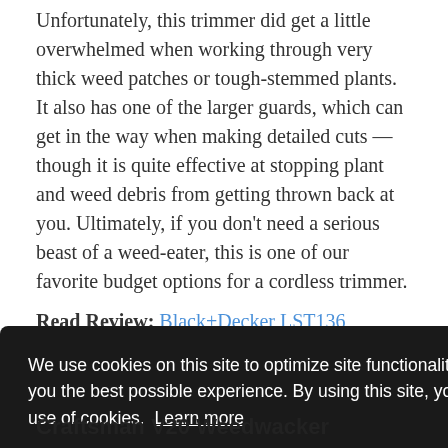Unfortunately, this trimmer did get a little overwhelmed when working through very thick weed patches or tough-stemmed plants. It also has one of the larger guards, which can get in the way when making detailed cuts — though it is quite effective at stopping plant and weed debris from getting thrown back at you. Ultimately, if you don't need a serious beast of a weed-eater, this is one of our favorite budget options for a cordless trimmer.
Read Review: Black+Decker LST136
We use cookies on this site to optimize site functionality and give you the best possible experience. By using this site, you accept our use of cookies. Learn more
Got it!
est
Casner
Craftsman V20 Weedwacker